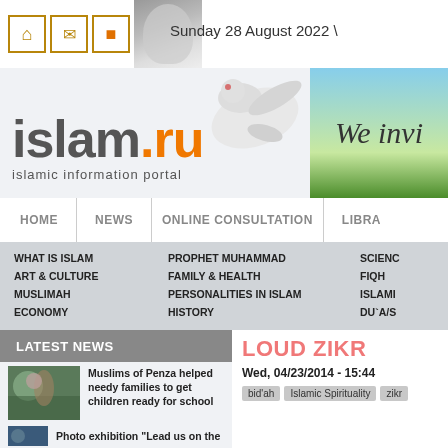Sunday 28 August 2022 \
[Figure (logo): islam.ru islamic information portal logo with dove image]
[Figure (photo): We invi... banner with sky and green field]
HOME | NEWS | ONLINE CONSULTATION | LIBRA...
WHAT IS ISLAM
ART & CULTURE
MUSLIMAH
ECONOMY
PROPHET MUHAMMAD
FAMILY & HEALTH
PERSONALITIES IN ISLAM
HISTORY
SCIENC...
FIQH
ISLAMIC...
DU`A/S...
LATEST NEWS
LOUD ZIKR
Wed, 04/23/2014 - 15:44
bid'ah   Islamic Spirituality   zikr
[Figure (photo): Children with flowers, school-related photo]
Muslims of Penza helped needy families to get children ready for school
[Figure (photo): Photo exhibition crowd photo]
Photo exhibition "Lead us on the...